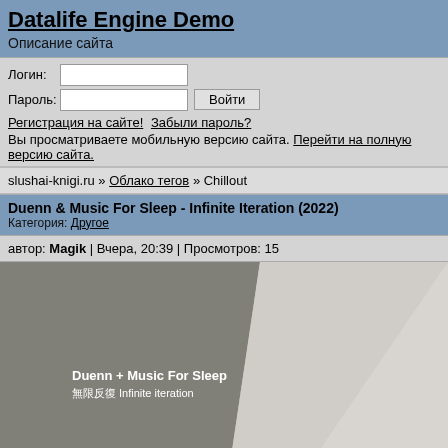Datalife Engine Demo
Описание сайта
Логин: [input] Пароль: [input] Войти
Регистрация на сайте! Забыли пароль?
Вы просматриваете мобильную версию сайта. Перейти на полную версию сайта.
slushai-knigi.ru » Облако тегов » Chillout
Duenn & Music For Sleep - Infinite Iteration (2022)
Категория: Другое
автор: Magik | Вчера, 20:39 | Просмотров: 15
[Figure (photo): Album art for Duenn + Music For Sleep - 無限反復 Infinite iteration. Dark grey geometric shapes on a light grey background with white text.]